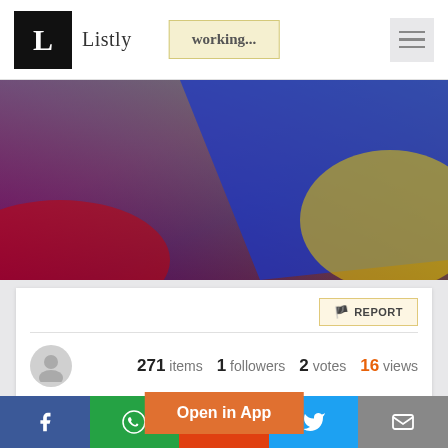L Listly | working...
[Figure (illustration): Abstract colorful gradient banner with blue, purple/magenta, red, and yellow color blending diagonally]
📌 REPORT
271 items  1 followers  2 votes  16 views
Hrtech News
Listly by HrTech Cub...
Open in App
Facebook | WhatsApp | Reddit | Twitter | Mail